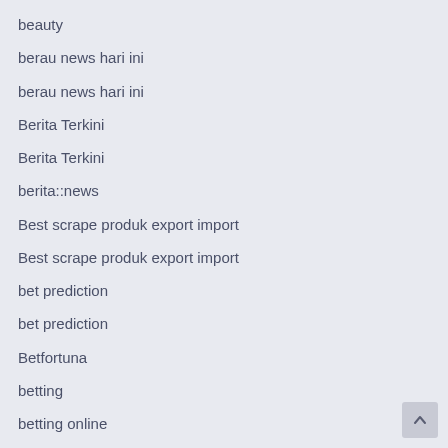beauty
berau news hari ini
berau news hari ini
Berita Terkini
Berita Terkini
berita::news
Best scrape produk export import
Best scrape produk export import
bet prediction
bet prediction
Betfortuna
betting
betting online
blah
blog